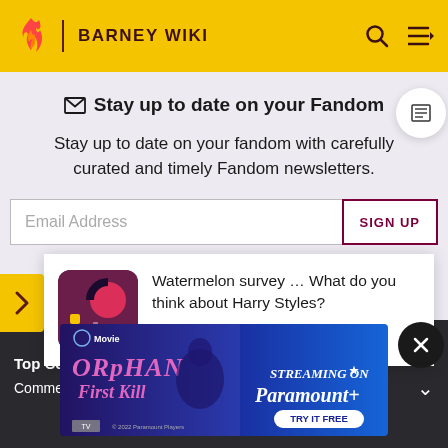BARNEY WIKI
✉ Stay up to date on your Fandom
Stay up to date on your fandom with carefully curated and timely Fandom newsletters.
Email Address
SIGN UP
Watermelon survey … What do you think about Harry Styles?
TAKE THE SURVEY HERE
MORE INFORMATION
Top Con…
Comme…
[Figure (screenshot): Orphan: First Kill movie ad banner - Streaming on Paramount+ Try It Free]